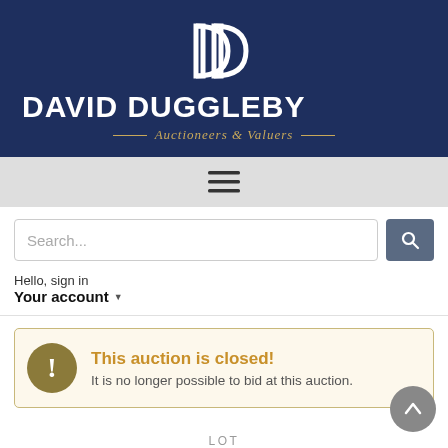[Figure (logo): David Duggleby Auctioneers & Valuers logo with DD monogram on navy background]
[Figure (other): Hamburger menu icon (three horizontal lines) on grey navigation bar]
Search...
Hello, sign in
Your account
This auction is closed! It is no longer possible to bid at this auction.
LOT
1127